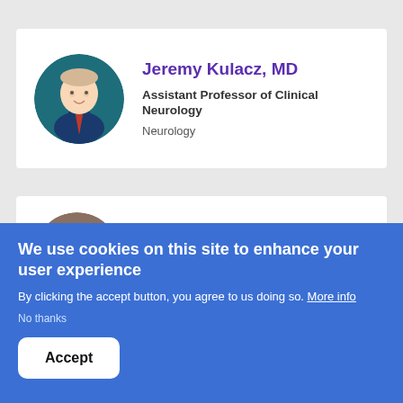[Figure (photo): Profile photo of Jeremy Kulacz, MD — a young man in a dark suit and red tie, circular crop against teal background]
Jeremy Kulacz, MD
Assistant Professor of Clinical Neurology
Neurology
[Figure (photo): Profile photo of Cheng-Shu Li, MD, PhD — a man with glasses, circular crop, partially visible]
Cheng-Shu Li, MD, PhD
Associate Professor
We use cookies on this site to enhance your user experience
By clicking the accept button, you agree to us doing so. More info
No thanks
Accept